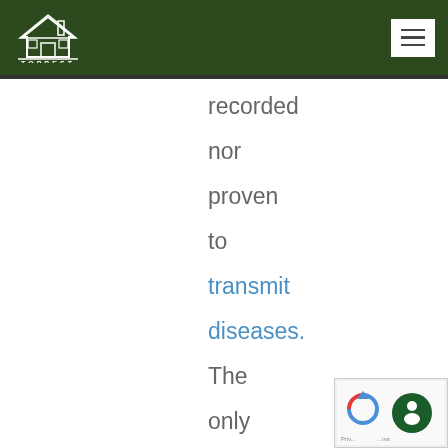TOPBEST
recorded nor proven to transmit diseases. The only medical concerns when it